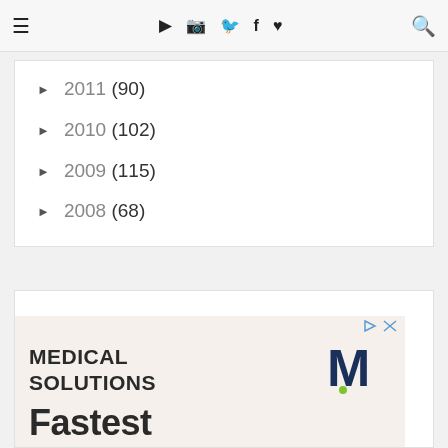≡ ▶ 📷 🐦 f ♥ 🔍
► 2011 (90)
► 2010 (102)
► 2009 (115)
► 2008 (68)
[Figure (other): Advertisement banner for Medical Solutions showing 'MEDICAL SOLUTIONS' text with M logo and 'Fastest' headline]